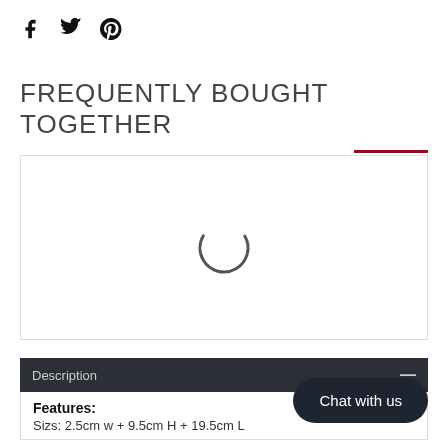[Figure (other): Social media icons: Facebook (f), Twitter (bird), Pinterest (p)]
FREQUENTLY BOUGHT TOGETHER
[Figure (other): Loading spinner animation inside a bordered box]
Description
Features:
Sizs: 2.5cm w + 9.5cm H + 19.5cm L